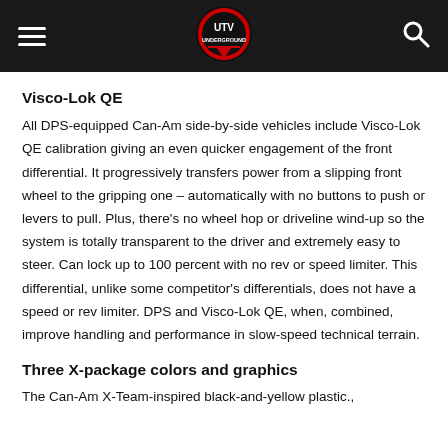UTV Underground logo with hamburger menu and search icon
Visco-Lok QE
All DPS-equipped Can-Am side-by-side vehicles include Visco-Lok QE calibration giving an even quicker engagement of the front differential. It progressively transfers power from a slipping front wheel to the gripping one – automatically with no buttons to push or levers to pull. Plus, there's no wheel hop or driveline wind-up so the system is totally transparent to the driver and extremely easy to steer. Can lock up to 100 percent with no rev or speed limiter. This differential, unlike some competitor's differentials, does not have a speed or rev limiter. DPS and Visco-Lok QE, when, combined, improve handling and performance in slow-speed technical terrain.
Three X-package colors and graphics
The Can-Am X-Team-inspired black-and-yellow plastic.,